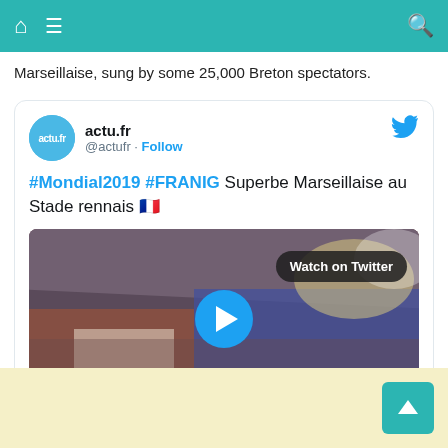Navigation bar with home, menu, and search icons
Marseillaise, sung by some 25,000 Breton spectators.
[Figure (screenshot): Embedded tweet from actu.fr (@actufr) with text '#Mondial2019 #FRANIG Superbe Marseillaise au Stade rennais 🇫🇷' and a video thumbnail showing a stadium crowd with a 'Watch on Twitter' button and play button]
[Figure (other): Yellow/cream footer area with a teal back-to-top button in the bottom right corner]